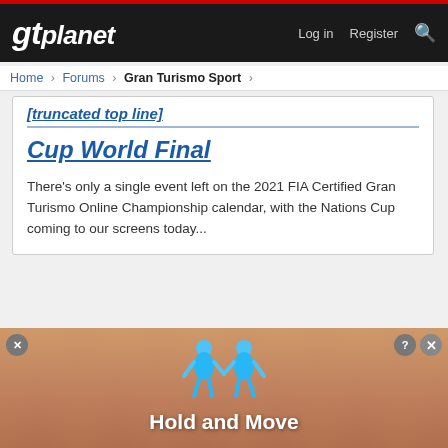gtplanet | Log in | Register
Home > Forums > Gran Turismo Sport >
Cup World Final
There's only a single event left on the 2021 FIA Certified Gran Turismo Online Championship calendar, with the Nations Cup coming to our screens today...
ProjectF
Reply
Auditore
[Figure (screenshot): Advertisement overlay showing two blue 3D figures with text 'Hold and Move' on a wooden background with close buttons]